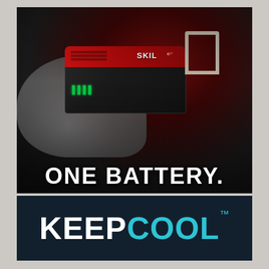[Figure (photo): A SKIL PWRcore battery being held in a hand, shown in mostly black and white with red accents. The battery has green LED charge indicators and a metal clip visible at top. Text 'ONE BATTERY.' overlaid in large white bold letters.]
[Figure (logo): Dark navy rectangle with 'KEEPCOOL™' text: KEEP in white bold, COOL in cyan/teal bold, with TM superscript.]